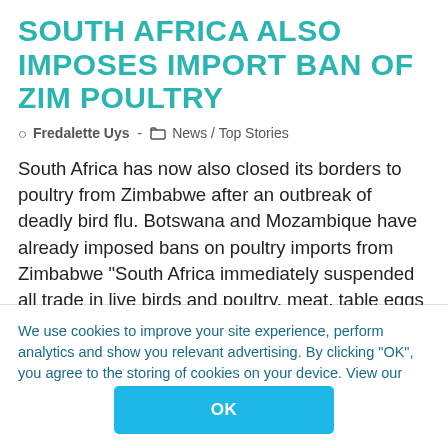SOUTH AFRICA ALSO IMPOSES IMPORT BAN OF ZIM POULTRY
Fredalette Uys - News / Top Stories
South Africa has now also closed its borders to poultry from Zimbabwe after an outbreak of deadly bird flu. Botswana and Mozambique have already imposed bans on poultry imports from Zimbabwe “South Africa immediately suspended all trade in live birds and poultry, meat, table eggs and other unprocessed
We use cookies to improve your site experience, perform analytics and show you relevant advertising. By clicking “OK”, you agree to the storing of cookies on your device. View our Privacy Portal Cookie Policy & Cookie FAQs
OK